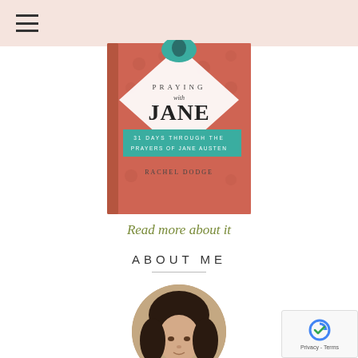[Figure (illustration): Book cover for 'Praying with Jane: 31 Days Through the Prayers of Jane Austen' by Rachel Dodge. Coral/salmon patterned cover with teal band and white diamond shape containing a silhouette.]
Read more about it
ABOUT ME
[Figure (photo): Circular portrait photo of a woman with dark hair and bangs, smiling slightly.]
[Figure (other): reCAPTCHA Privacy & Terms badge overlay in bottom right corner.]